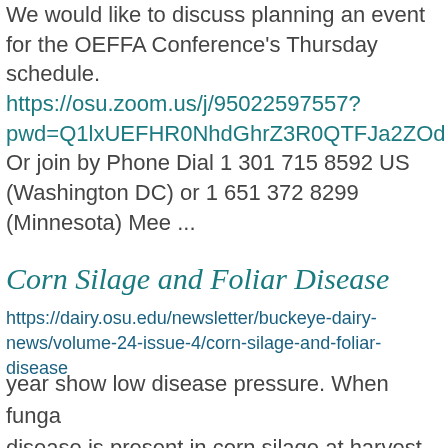We would like to discuss planning an event for the OEFFA Conference's Thursday schedule. https://osu.zoom.us/j/95022597557?pwd=Q1lxUEFHR0NhdGhrZ3R0QTFJa2ZOd Or join by Phone Dial 1 301 715 8592 US (Washington DC) or 1 651 372 8299 (Minnesota) Mee ...
Corn Silage and Foliar Disease
https://dairy.osu.edu/newsletter/buckeye-dairy-news/volume-24-issue-4/corn-silage-and-foliar-disease
year show low disease pressure. When funga disease is present in corn silage at harvest, research ... most common. Three products th researchers across the country are seeing lov